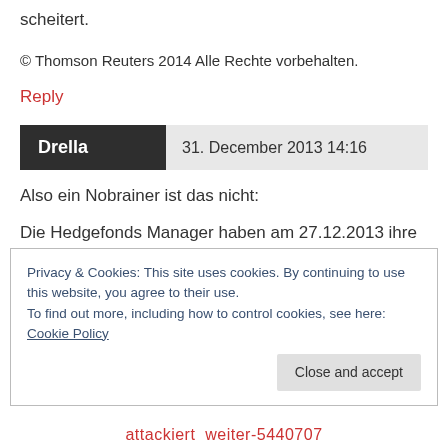scheitert.
© Thomson Reuters 2014 Alle Rechte vorbehalten.
Reply
Drella   31. December 2013 14:16
Also ein Nobrainer ist das nicht:
Die Hedgefonds Manager haben am 27.12.2013 ihre Short-Position von 0,95% auf 1,00% der Celesio-Aktion erhöht. Seit Erreichen eines Zwischentiefs von
Privacy & Cookies: This site uses cookies. By continuing to use this website, you agree to their use.
To find out more, including how to control cookies, see here: Cookie Policy
Close and accept
attackiert  weiter-5440707